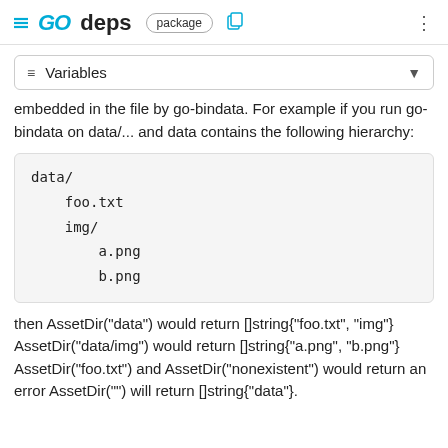GO deps package
≡ Variables
embedded in the file by go-bindata. For example if you run go-bindata on data/... and data contains the following hierarchy:
data/
    foo.txt
    img/
        a.png
        b.png
then AssetDir("data") would return []string{"foo.txt", "img"} AssetDir("data/img") would return []string{"a.png", "b.png"} AssetDir("foo.txt") and AssetDir("nonexistent") would return an error AssetDir("") will return []string{"data"}.